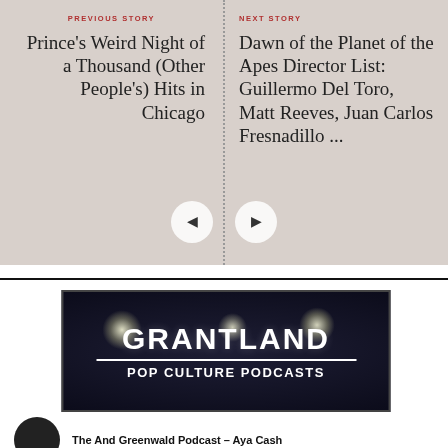PREVIOUS STORY
Prince's Weird Night of a Thousand (Other People's) Hits in Chicago
NEXT STORY
Dawn of the Planet of the Apes Director List: Guillermo Del Toro, Matt Reeves, Juan Carlos Fresnadillo ...
[Figure (other): Grantland Pop Culture Podcasts banner with starburst concert lights on dark background]
The And Greenwald Podcast – Aya Cash